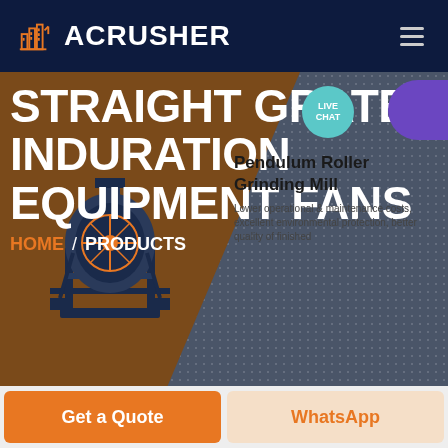ACRUSHER
STRAIGHT GRATE INDURATION EQUIPMENT FANS
Pendulum Roller Grinding Mill
Lower operational & maintenance costs, excellent environmental protection, better quality of finished
LIVE CHAT
HOME / PRODUCTS
Get a Quote
WhatsApp